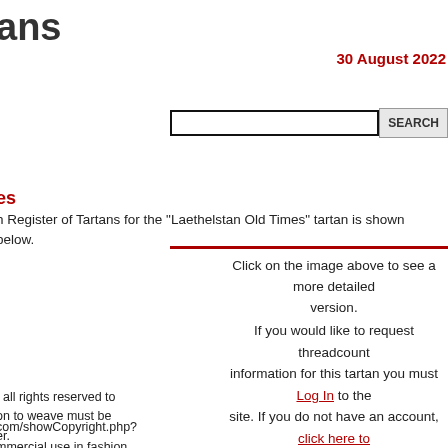ans
30 August 2022
[Figure (screenshot): Search input box with SEARCH button]
es
h Register of Tartans for the "Laethelstan Old Times" tartan is shown below.
Click on the image above to see a more detailed version.
If you would like to request threadcount information for this tartan you must Log In to the site. If you do not have an account, click here to create one.
, all rights reserved to on to weave must be er.
com/showCopyright.php?
mmercial use in fashion